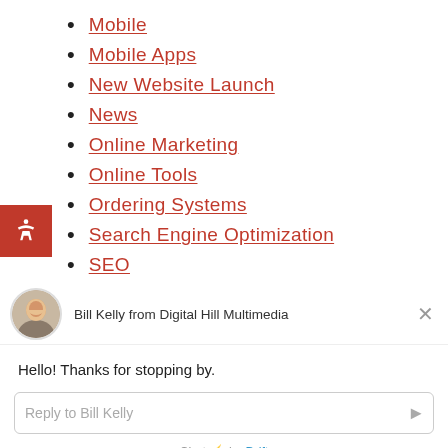Mobile
Mobile Apps
New Website Launch
News
Online Marketing
Online Tools
Ordering Systems
Search Engine Optimization
SEO
[Figure (screenshot): Chat widget from Drift showing Bill Kelly from Digital Hill Multimedia with greeting message 'Hello! Thanks for stopping by.' and reply input field. Footer reads 'Chat ⚡ by Drift'.]